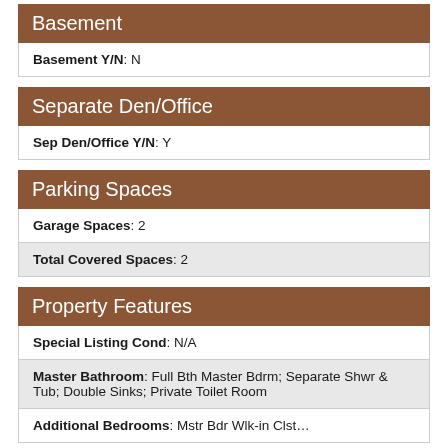Basement
Basement Y/N: N
Separate Den/Office
Sep Den/Office Y/N: Y
Parking Spaces
Garage Spaces: 2
Total Covered Spaces: 2
Property Features
Special Listing Cond: N/A
Master Bathroom: Full Bth Master Bdrm; Separate Shwr & Tub; Double Sinks; Private Toilet Room
Additional Bedrooms: Mstr Bdr Wlk-in Clst